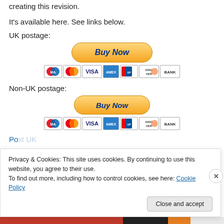creating this revision.
It's available here. See links below.
UK postage:
[Figure (other): PayPal Buy Now button with payment icons (Maestro, Mastercard, VISA, Amex, UnionPay, Discover, BANK)]
Non-UK postage:
[Figure (other): PayPal Buy Now button with payment icons (Maestro, Mastercard, VISA, Amex, UnionPay, Discover, BANK)]
Privacy & Cookies: This site uses cookies. By continuing to use this website, you agree to their use.
To find out more, including how to control cookies, see here: Cookie Policy
Close and accept